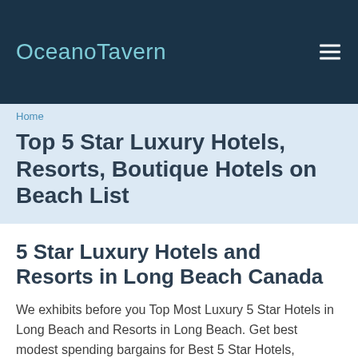OceanoTavern
Home
Top 5 Star Luxury Hotels, Resorts, Boutique Hotels on Beach List
5 Star Luxury Hotels and Resorts in Long Beach Canada
We exhibits before you Top Most Luxury 5 Star Hotels in Long Beach and Resorts in Long Beach. Get best modest spending bargains for Best 5 Star Hotels, Boutique Hotels and Small Luxury Boutique Hotels and